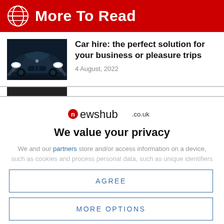More To Read
[Figure (photo): Dark blue photo of a luxury car (Mercedes) facing forward with headlights on]
Car hire: the perfect solution for your business or pleasure trips
4 August, 2022
[Figure (logo): newshub.co.uk logo with red circle containing letter n]
We value your privacy
We and our partners store and/or access information on a device,
such as cookies and process personal data, such as unique identifiers
AGREE
MORE OPTIONS